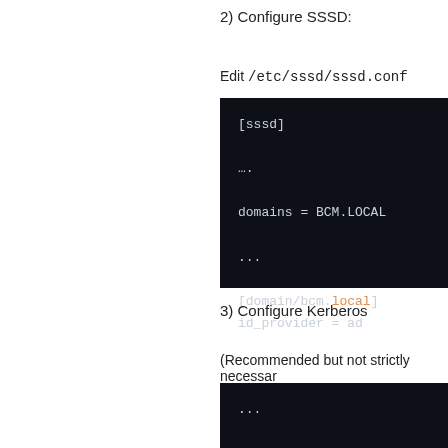2) Configure SSSD:
Edit /etc/sssd/sssd.conf
[Figure (screenshot): Dark-themed code block showing SSSD configuration: [sssd] ... domains = BCM.LOCAL ... [domain/bcm.local] id_provider = ad]
3) Configure Kerberos
(Recommended but not strictly necessar
[Figure (screenshot): Dark-themed code block showing Kerberos configuration: ... [libdefaults] default_realm = BCM.LOCAL]